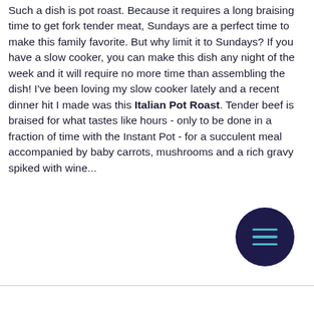Such a dish is pot roast. Because it requires a long braising time to get fork tender meat, Sundays are a perfect time to make this family favorite. But why limit it to Sundays? If you have a slow cooker, you can make this dish any night of the week and it will require no more time than assembling the dish! I've been loving my slow cooker lately and a recent dinner hit I made was this Italian Pot Roast. Tender beef is braised for what tastes like hours - only to be done in a fraction of time with the Instant Pot - for a succulent meal accompanied by baby carrots, mushrooms and a rich gravy spiked with wine...
[Figure (other): Dark navy circular menu button with three teal horizontal lines (hamburger menu icon)]